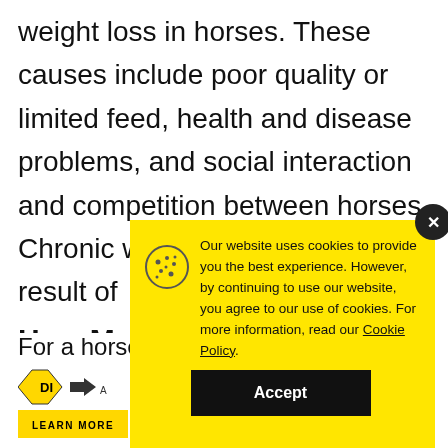weight loss in horses. These causes include poor quality or limited feed, health and disease problems, and social interaction and competition between horses. Chronic weight loss can also the result of
How Man Ride My
For a horse
[Figure (screenshot): Cookie consent modal overlay with yellow background. Contains cookie icon, text about website cookie usage, underlined 'Cookie Policy' link, and a dark 'Accept' button. A dark circular close button (×) appears in the top-right corner.]
[Figure (logo): Diamond-shaped logo with 'DI' text and 'LEARN MORE' button in yellow bar at bottom]